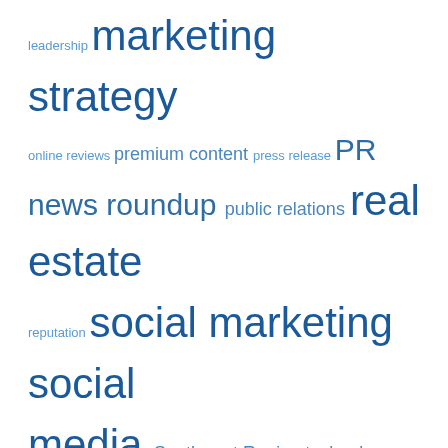[Figure (infographic): Tag cloud with insurance and marketing related terms in varying font sizes and shades of blue. Terms include: leadership, marketing strategy, online reviews, premium content, press release, PR, news roundup, public relations, real estate, reputation, social marketing, social media, Southwest Region, technology, texas, title agents, title insurance, underwriting, wire fraud]
LET'S CONNECT
Discover more stories and conversations on our social media networks, or drop us